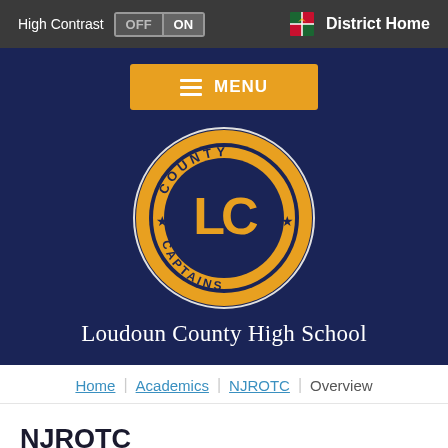High Contrast OFF ON   District Home
[Figure (screenshot): MENU button with hamburger icon on orange background, followed by Loudoun County Captains circular logo on dark navy background, followed by school name 'Loudoun County High School']
Home | Academics | NJROTC | Overview
NJROTC
Overview